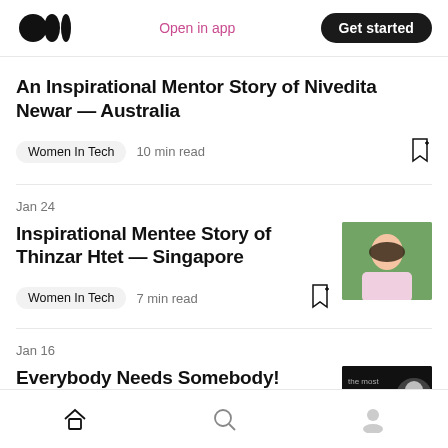Medium logo | Open in app | Get started
An Inspirational Mentor Story of Nivedita Newar — Australia
Women In Tech  10 min read
Jan 24
Inspirational Mentee Story of Thinzar Htet — Singapore
Women In Tech  7 min read
Jan 16
Everybody Needs Somebody!
Home | Search | Profile